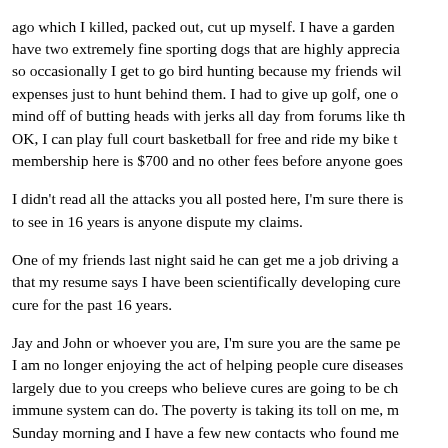ago which I killed, packed out, cut up myself. I have a garden have two extremely fine sporting dogs that are highly apprecia so occasionally I get to go bird hunting because my friends wil expenses just to hunt behind them. I had to give up golf, one o mind off of butting heads with jerks all day from forums like th OK, I can play full court basketball for free and ride my bike t membership here is $700 and no other fees before anyone goes
I didn't read all the attacks you all posted here, I'm sure there is to see in 16 years is anyone dispute my claims.
One of my friends last night said he can get me a job driving a that my resume says I have been scientifically developing cure cure for the past 16 years.
Jay and John or whoever you are, I'm sure you are the same pe I am no longer enjoying the act of helping people cure diseases largely due to you creeps who believe cures are going to be ch immune system can do. The poverty is taking its toll on me, m Sunday morning and I have a few new contacts who found me these attacks. They are asking to make appointments despite yo setting appointments and curing people under these exact same I'm tired of it. It took being ganged up on for a two hour blow was and how futile it is to think I could make a difference whe powerful industry in the world.